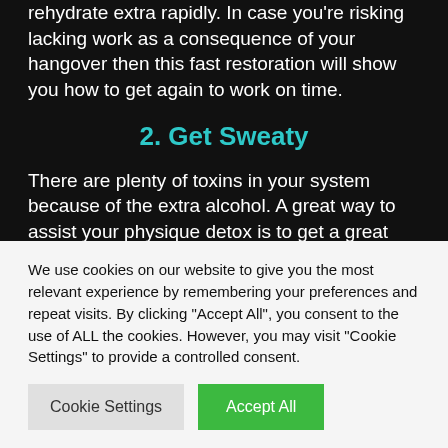rehydrate extra rapidly. In case you're risking lacking work as a consequence of your hangover then this fast restoration will show you how to get again to work on time.
2. Get Sweaty
There are plenty of toxins in your system because of the extra alcohol. A great way to assist your physique detox is to get a great sweat going. You have got a few decisions on the subject of working
We use cookies on our website to give you the most relevant experience by remembering your preferences and repeat visits. By clicking "Accept All", you consent to the use of ALL the cookies. However, you may visit "Cookie Settings" to provide a controlled consent.
Cookie Settings
Accept All